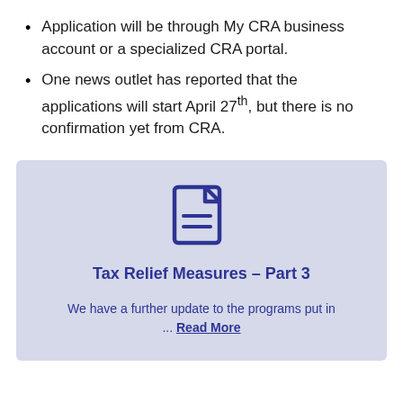Application will be through My CRA business account or a specialized CRA portal.
One news outlet has reported that the applications will start April 27th, but there is no confirmation yet from CRA.
[Figure (illustration): Document icon with lines, in dark blue/indigo color]
Tax Relief Measures – Part 3
We have a further update to the programs put in … Read More